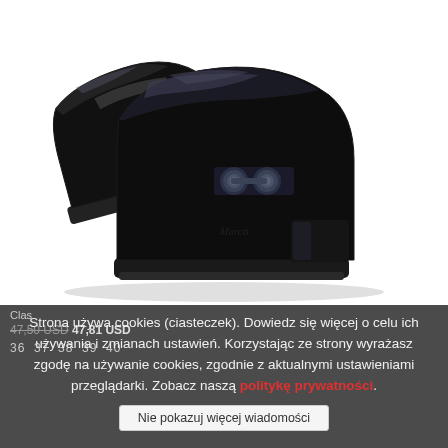[Figure (photo): Two black patent leather loafer shoes with metal bit detail, posed on white background — one standing upright and one lying on its side.]
Clas...
47,50 USD 47,81 USD
36  37  38  39  40
Strona używa cookies (ciasteczek). Dowiedz się więcej o celu ich używania i zmianach ustawień. Korzystając ze strony wyrażasz zgodę na używanie cookies, zgodnie z aktualnymi ustawieniami przeglądarki. Zobacz naszą politykę prywatności.
Nie pokazuj więcej wiadomości